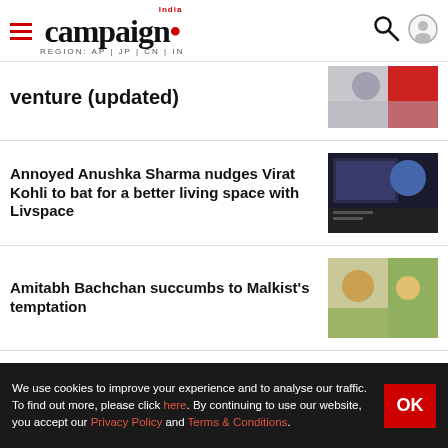campaign India — REGION: AP | JP | CN | IN
venture (updated)
Annoyed Anushka Sharma nudges Virat Kohli to bat for a better living space with Livspace
Amitabh Bachchan succumbs to Malkist's temptation
Weekend Fun: The Blue Film
We use cookies to improve your experience and to analyse our traffic. To find out more, please click here. By continuing to use our website, you accept our Privacy Policy and Terms & Conditions.